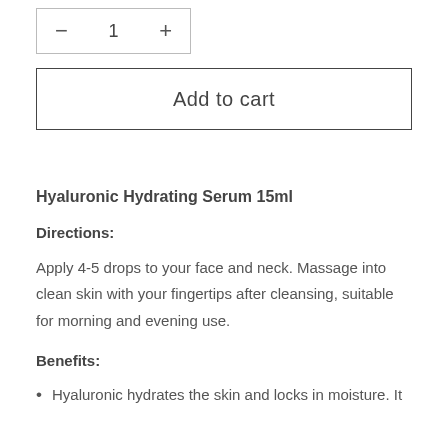− 1 +
Add to cart
Hyaluronic Hydrating Serum 15ml
Directions:
Apply 4-5 drops to your face and neck. Massage into clean skin with your fingertips after cleansing, suitable for morning and evening use.
Benefits:
Hyaluronic hydrates the skin and locks in moisture. It